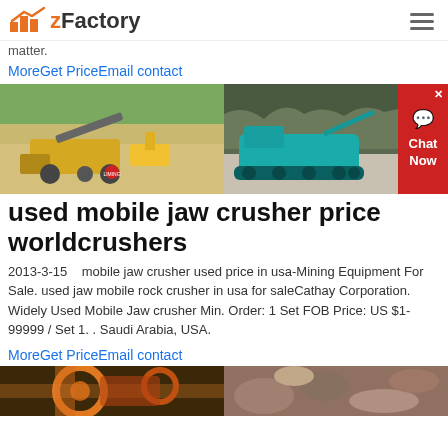zFactory
matter.
MoreGet PriceEmail contact
[Figure (photo): Two photos of mobile jaw crushers in outdoor quarry/mining settings. Left image shows a yellow mobile crusher with loader in sand quarry. Right image shows a teal/blue mobile jaw crusher on rocky terrain.]
used mobile jaw crusher price worldcrushers
2013-3-15    mobile jaw crusher used price in usa-Mining Equipment For Sale. used jaw mobile rock crusher in usa for saleCathay Corporation. Widely Used Mobile Jaw crusher Min. Order: 1 Set FOB Price: US $1-99999 / Set 1. . Saudi Arabia, USA.
MoreGet PriceEmail contact
[Figure (photo): Two photos at bottom: left shows close-up of crusher gear/machinery parts in orange and black, right shows crushed rock/aggregate material.]